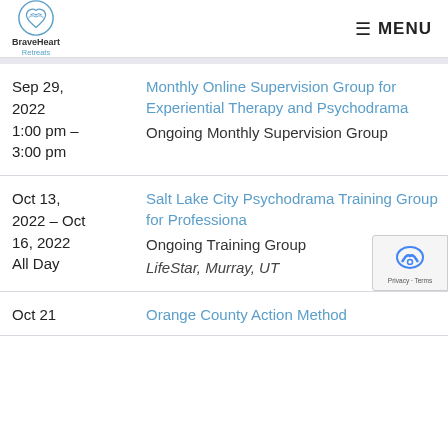BraveHeart Retreats — MENU
| Date/Time | Event |
| --- | --- |
| Sep 29, 2022
1:00 pm - 3:00 pm | Monthly Online Supervision Group for Experiential Therapy and Psychodrama
Ongoing Monthly Supervision Group |
| Oct 13, 2022 - Oct 16, 2022
All Day | Salt Lake City Psychodrama Training Group for Professionals
Ongoing Training Group
LifeStar, Murray, UT |
| Oct 21 | Orange County Action Method... |